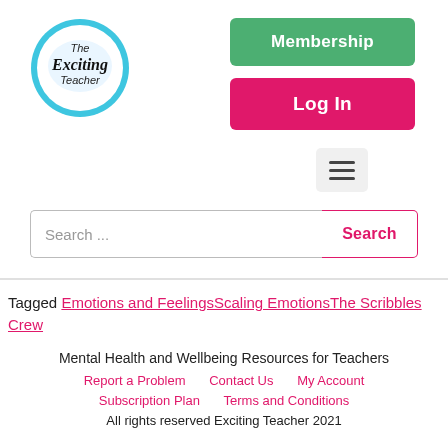[Figure (logo): The Exciting Teacher circular logo with blue border and white background, text reading 'The Exciting Teacher']
Membership
Log In
[Figure (other): Hamburger menu icon (three horizontal lines) on light gray background]
Search ...
Search
Tagged Emotions and FeeingsScaling EmotionsThe Scribbles Crew
Mental Health and Wellbeing Resources for Teachers
Report a Problem   Contact Us   My Account
Subscription Plan   Terms and Conditions
All rights reserved Exciting Teacher 2021